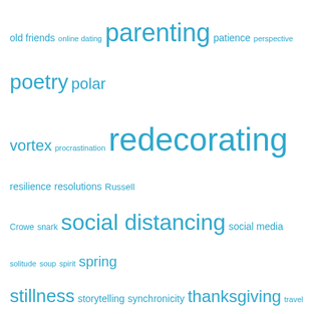[Figure (infographic): Tag cloud with blog-related keywords in varying font sizes, all in teal/blue color. Words include: old friends, online dating, parenting, patience, perspective, poetry, polar vortex, procrastination, redecorating, resilience, resolutions, Russell Crowe, snark, social distancing, social media, solitude, soup, spirit, spring, stillness, storytelling, synchronicity, thanksgiving, travel, Wisconsin, workout, writer, writing, younger men]
Blogs I Follow
[Figure (photo): Portrait photo of a woman with short blonde hair and pink glasses, smiling, wearing a green top, against a light grey background]
[Figure (photo): Portrait photo of an older man wearing a dark baseball cap and small round glasses with a white mustache, outdoors near water with buildings in background]